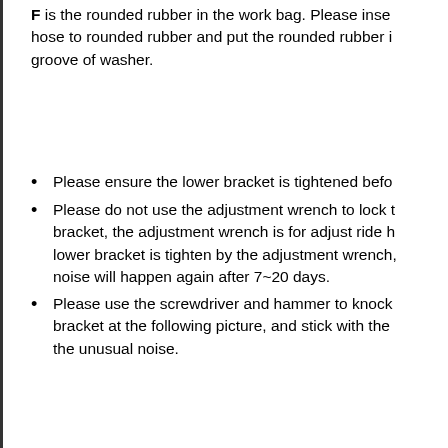F is the rounded rubber in the work bag. Please insert the hose to rounded rubber and put the rounded rubber in the groove of washer.
Please ensure the lower bracket is tightened before
Please do not use the adjustment wrench to lock the bracket, the adjustment wrench is for adjust ride height, lower bracket is tighten by the adjustment wrench, noise will happen again after 7~20 days.
Please use the screwdriver and hammer to knock the bracket at the following picture, and stick with the to eliminate the unusual noise.
For some models, the rear shock is not a full coilover with bushing on the top and bottom; in this case, you sho